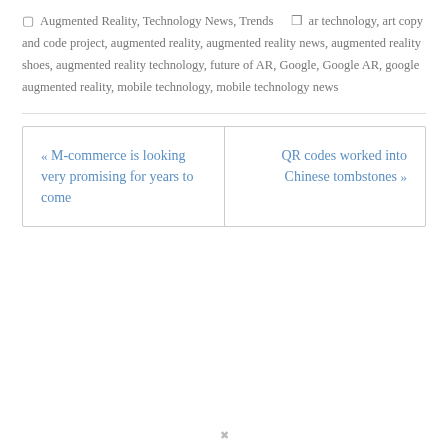☐ Augmented Reality, Technology News, Trends  🏷 ar technology, art copy and code project, augmented reality, augmented reality news, augmented reality shoes, augmented reality technology, future of AR, Google, Google AR, google augmented reality, mobile technology, mobile technology news
« M-commerce is looking very promising for years to come
QR codes worked into Chinese tombstones »